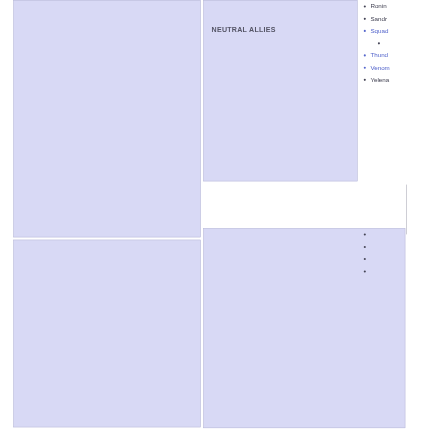[Figure (other): Large lavender/periwinkle blue rectangle, top-left area]
[Figure (other): Medium lavender/periwinkle blue rectangle, top-middle area with NEUTRAL ALLIES label]
NEUTRAL ALLIES
Ronin
Sandr
Squad
(sub-bullet)
Thund
Venom
Yelena
[Figure (other): Large lavender/periwinkle blue rectangle, bottom-left area]
[Figure (other): Large lavender/periwinkle blue rectangle, bottom-middle area]
(bullet)
(bullet)
(bullet)
(bullet)